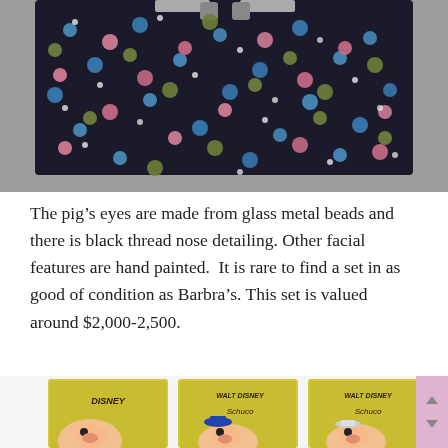[Figure (photo): A black fabric or case with colorful polka dots (blue, pink, olive/green, white) arranged in a pattern, photographed on a gray textured background. Metal hardware visible at the top.]
The pig’s eyes are made from glass metal beads and there is black thread nose detailing. Other facial features are hand painted.  It is rare to find a set in as good of condition as Barbra’s. This set is valued around $2,000-2,500.
[Figure (photo): Three Walt Disney Schuco pig toys in yellow boxes, showing pig figurines with blue hats and painted faces, partially visible at the bottom of the page.]